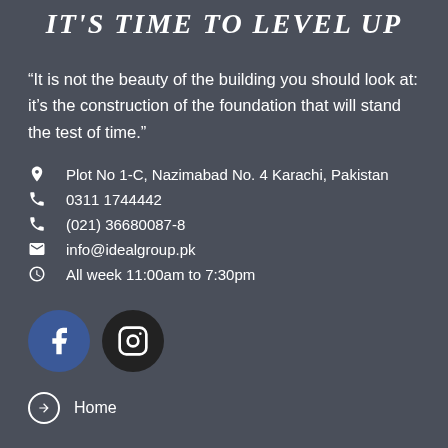IT'S TIME TO LEVEL UP
“It is not the beauty of the building you should look at: it’s the construction of the foundation that will stand the test of time.”
Plot No 1-C, Nazimabad No. 4 Karachi, Pakistan
0311 1744442
(021) 36680087-8
info@idealgroup.pk
All week 11:00am to 7:30pm
[Figure (logo): Facebook and Instagram social media icon circles]
Home